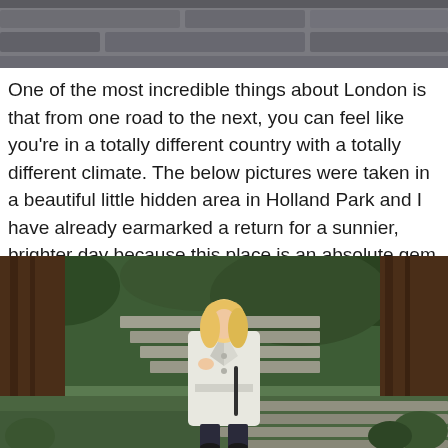[Figure (photo): Top portion of a photo showing a rocky or stone surface, cropped at the top of the page]
One of the most incredible things about London is that from one road to the next, you can feel like you're in a totally different country with a totally different climate. The below pictures were taken in a beautiful little hidden area in Holland Park and I have already earmarked a return for a sunnier, brighter day because this place is an absolute gem. London, stop showing off now please…
[Figure (photo): A woman with blonde hair wearing a white trench coat and dark jeans standing in a lush green garden area in Holland Park, London, surrounded by tree ferns and stone steps]